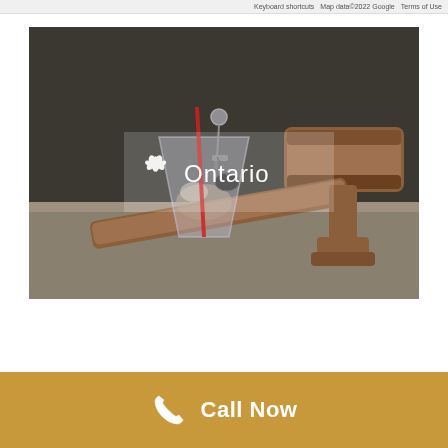Keyboard shortcuts   Map data©2022 Google   Terms of Use
[Figure (photo): Photo showing a whiskey glass with car keys and a wooden judge's gavel on a surface, representing drunk driving law enforcement. An Ontario government logo overlay is centered on the image with a semi-transparent background.]
Call Now